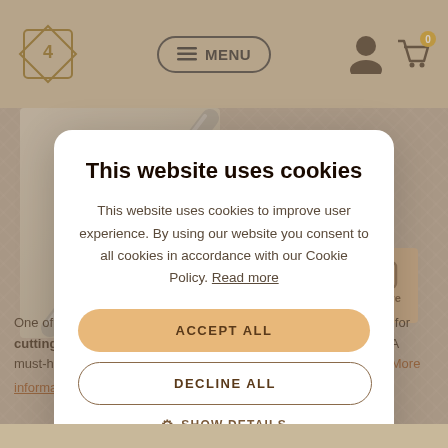[Figure (screenshot): Website navigation bar with logo (diamond shape with 4), menu button, user icon, and shopping cart with 0 items]
One of the most popular knives, this multi-purpose knife is perfect for cutting smaller fruits and vegetables, sausages, cheese, etc. A must-have in the kitchen (included in the Chef's starter knife set). More information
This website uses cookies
This website uses cookies to improve user experience. By using our website you consent to all cookies in accordance with our Cookie Policy. Read more
ACCEPT ALL
DECLINE ALL
SHOW DETAILS